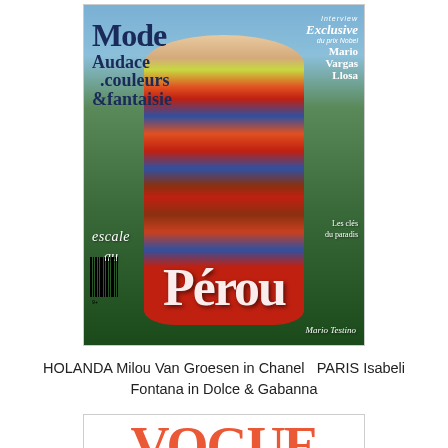[Figure (photo): Magazine cover featuring a model in colorful Peruvian-style outfit with text: Mode, Audace couleurs & fantaisie, Interview Exclusive du prix Nobel Mario Vargas Llosa, escale au Pérou, Les clés du paradis, Mario Testino, barcode]
HOLANDA Milou Van Groesen in Chanel  PARIS Isabeli Fontana in Dolce & Gabanna
[Figure (photo): Partial magazine cover showing VOGUE Portugal title in large red letters with partial model visible]